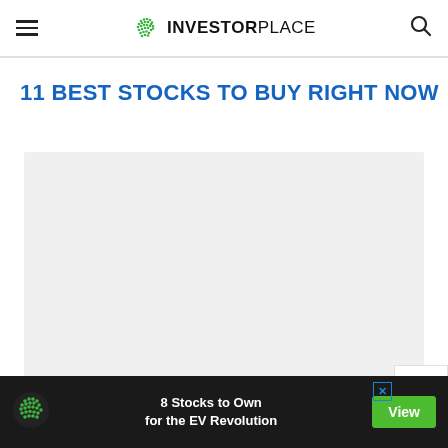InvestorPlace
11 BEST STOCKS TO BUY RIGHT NOW
[Figure (photo): Large light gray image placeholder area below the article title]
8 Stocks to Own for the EV Revolution
View